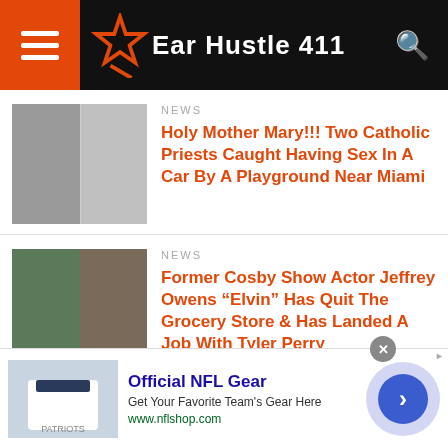Ear Hustle 411
NEWS
Holy Mother Mary!!! Two Catholic Priests Caught Having Sex In A Car By A Playground Near Miami
NEWS
Former Cosby Show Actor Jeffrey Owens “Elvin” Has Quit The Grocery Store & Has Landed A Job With Tyler Perry
NEWS
African American Billionaire & Co-
[Figure (screenshot): Advertisement for Official NFL Gear with player image, text 'Official NFL Gear', 'Get Your Favorite Team’s Gear Here', 'www.nflshop.com']